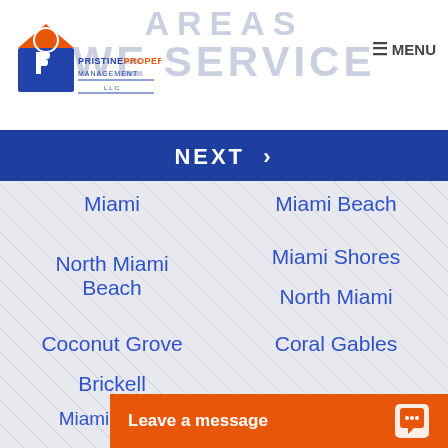Pristine Property Management LLC | AREAS WE SERVICE
NEXT ›
Miami
Miami Beach
North Miami Beach
Miami Shores
North Miami
Coconut Grove
Coral Gables
Brickell
Sunny Isle
Miami Lakes
Miami Springs
Fisher Island
Surfside
Westchester
Kendall
Hialeah
Leave a message